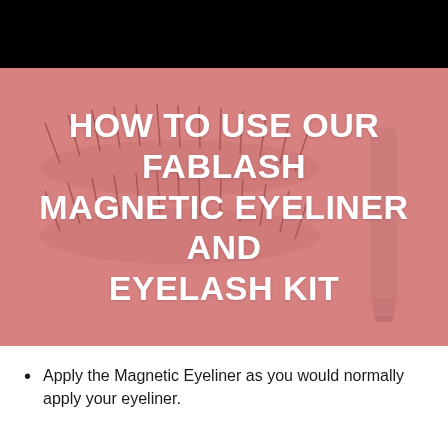[Figure (photo): Pink-toned photo of false eyelashes and a mascara/eyeliner tube on a light background, with a semi-transparent pink overlay. Text overlay reads: HOW TO USE OUR FABLASH MAGNETIC EYELINER AND EYELASH KIT]
HOW TO USE OUR FABLASH MAGNETIC EYELINER AND EYELASH KIT
Apply the Magnetic Eyeliner as you would normally apply your eyeliner.